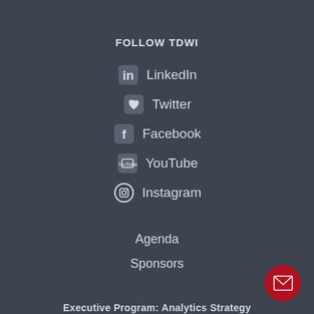FOLLOW TDWI
LinkedIn
Twitter
Facebook
YouTube
Instagram
Agenda
Sponsors
Executive Program: Analytics Strategy
March 9–10